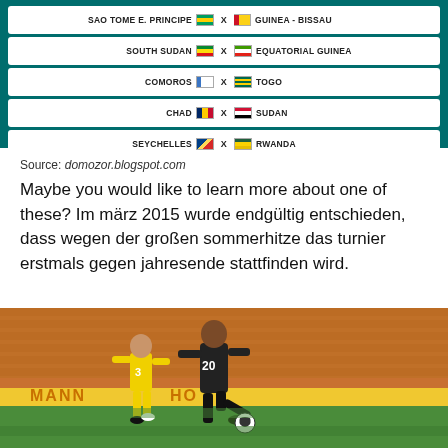[Figure (infographic): Teal background matchup bracket showing 5 football match pairings: SAO TOME E. PRINCIPE vs GUINEA-BISSAU, SOUTH SUDAN vs EQUATORIAL GUINEA, COMOROS vs TOGO, CHAD vs SUDAN, SEYCHELLES vs RWANDA]
Source: domozor.blogspot.com
Maybe you would like to learn more about one of these? Im märz 2015 wurde endgültig entschieden, dass wegen der großen sommerhitze das turnier erstmals gegen jahresende stattfinden wird.
[Figure (photo): Football match photo showing a player in black kit (number 20) and a player in yellow kit (number 3) competing for the ball on a football pitch with orange stadium seats in the background. Advertising boards show MANN and HO text.]